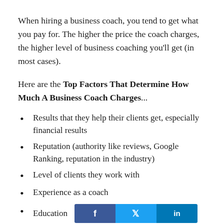When hiring a business coach, you tend to get what you pay for. The higher the price the coach charges, the higher level of business coaching you'll get (in most cases).
Here are the Top Factors That Determine How Much A Business Coach Charges...
Results that they help their clients get, especially financial results
Reputation (authority like reviews, Google Ranking, reputation in the industry)
Level of clients they work with
Experience as a coach
Education